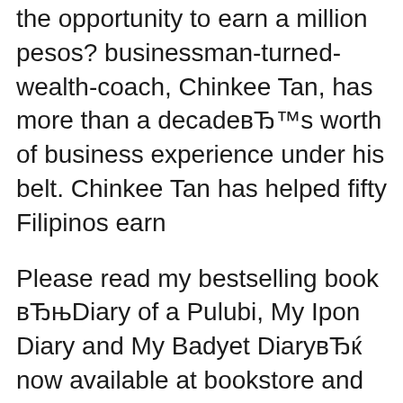the opportunity to earn a million pesos? businessman-turned-wealth-coach, Chinkee Tan, has more than a decade's worth of business experience under his belt. Chinkee Tan has helped fifty Filipinos earn
Please read my bestselling book “Diary of a Pulubi, My Ipon Diary and My Badyet Diary” now available at bookstore and Lazada. Chinkee Tan’s Wealth of Advice appears Wednesdays on GoodNewsPilipinas.com (Chinkee Tan is a top Filipino motivational speaker, wealth and life coach whose goal is to inform, educate, motivate, and disturb. Learn how to #IPONPAMORE with “My Ipon